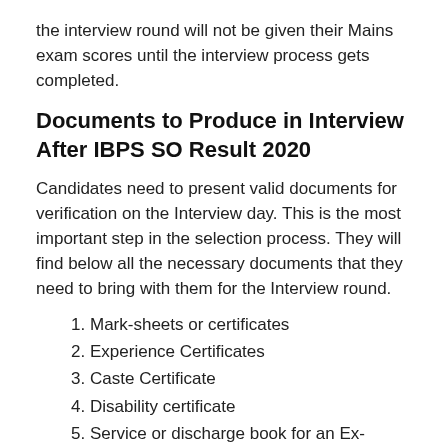the interview round will not be given their Mains exam scores until the interview process gets completed.
Documents to Produce in Interview After IBPS SO Result 2020
Candidates need to present valid documents for verification on the Interview day. This is the most important step in the selection process. They will find below all the necessary documents that they need to bring with them for the Interview round.
Mark-sheets or certificates
Experience Certificates
Caste Certificate
Disability certificate
Service or discharge book for an Ex-serviceman